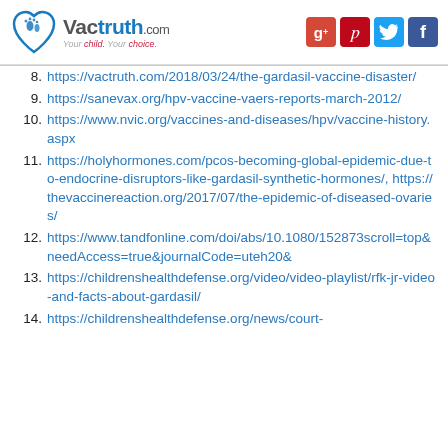VacTruth.com — Your child. Your choice.
8. https://vactruth.com/2018/03/24/the-gardasil-vaccine-disaster/
9. https://sanevax.org/hpv-vaccine-vaers-reports-march-2012/
10. https://www.nvic.org/vaccines-and-diseases/hpv/vaccine-history.aspx
11. https://holyhormones.com/pcos-becoming-global-epidemic-due-to-endocrine-disruptors-like-gardasil-synthetic-hormones/, https://thevaccinereaction.org/2017/07/the-epidemic-of-diseased-ovaries/
12. https://www.tandfonline.com/doi/abs/10.1080/152873...scroll=top&needAccess=true&journalCode=uteh20&
13. https://childrenshealthdefense.org/video/video-playlist/rfk-jr-video-and-facts-about-gardasil/
14. https://childrenshealthdefense.org/news/court-